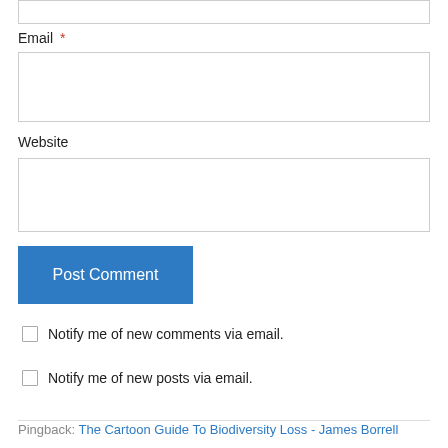Email *
Website
Post Comment
Notify me of new comments via email.
Notify me of new posts via email.
Pingback: The Cartoon Guide To Biodiversity Loss - James Borrell